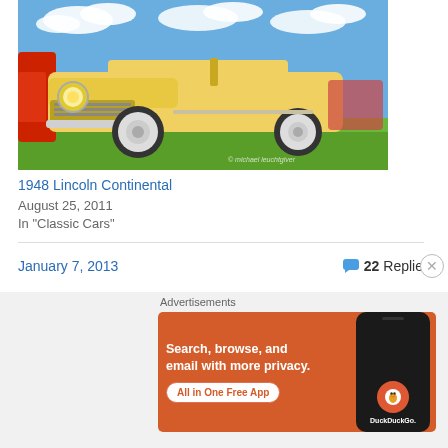[Figure (photo): Vintage yellow 1948 Lincoln Continental convertible car at a car show, with a red car partially visible on the left, blue sky with white clouds in the background, parked on green grass. Watermark text 'michael leuchtgiver' visible in bottom right.]
1948 Lincoln Continental
August 25, 2011
In "Classic Cars"
January 7, 2013
22 Replies
[Figure (screenshot): DuckDuckGo advertisement banner on orange/red background. Text reads: 'Search, browse, and email with more privacy. All in One Free App'. Shows a smartphone with DuckDuckGo logo. Label 'Advertisements' above.]